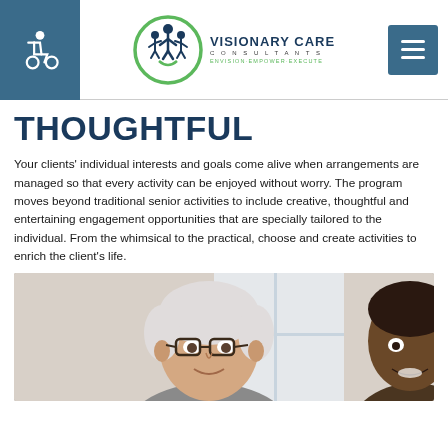Visionary Care Consultants — ENVISION·EMPOWER·EXECUTE
THOUGHTFUL
Your clients' individual interests and goals come alive when arrangements are managed so that every activity can be enjoyed without worry. The program moves beyond traditional senior activities to include creative, thoughtful and entertaining engagement opportunities that are specially tailored to the individual. From the whimsical to the practical, choose and create activities to enrich the client's life.
[Figure (photo): Photo of two people, one older white-haired man with glasses and one person of color, both smiling, partially cropped at bottom of page.]